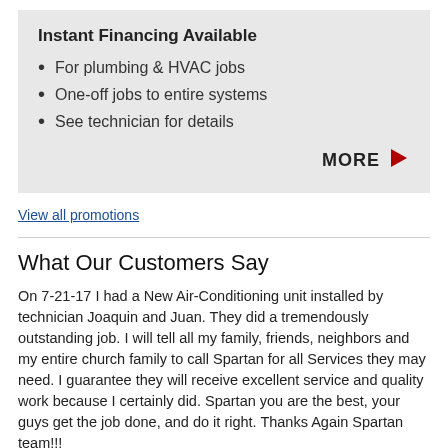Instant Financing Available
For plumbing & HVAC jobs
One-off jobs to entire systems
See technician for details
MORE ▶
View all promotions
What Our Customers Say
On 7-21-17 I had a New Air-Conditioning unit installed by technician Joaquin and Juan. They did a tremendously outstanding job. I will tell all my family, friends, neighbors and my entire church family to call Spartan for all Services they may need. I guarantee they will receive excellent service and quality work because I certainly did. Spartan you are the best, your guys get the job done, and do it right. Thanks Again Spartan team!!!